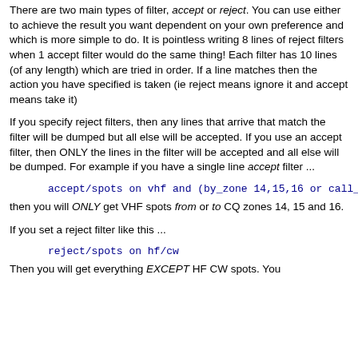There are two main types of filter, accept or reject. You can use either to achieve the result you want dependent on your own preference and which is more simple to do. It is pointless writing 8 lines of reject filters when 1 accept filter would do the same thing! Each filter has 10 lines (of any length) which are tried in order. If a line matches then the action you have specified is taken (ie reject means ignore it and accept means take it)
If you specify reject filters, then any lines that arrive that match the filter will be dumped but all else will be accepted. If you use an accept filter, then ONLY the lines in the filter will be accepted and all else will be dumped. For example if you have a single line accept filter ...
accept/spots on vhf and (by_zone 14,15,16 or call_ze
then you will ONLY get VHF spots from or to CQ zones 14, 15 and 16.
If you set a reject filter like this ...
reject/spots on hf/cw
Then you will get everything EXCEPT HF CW spots. You